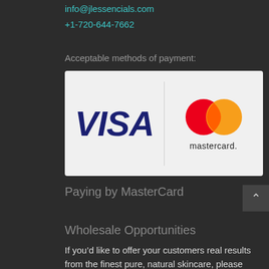info@jlessencials.com
+1-720-644-7662
Acceptable methods of payment:
[Figure (logo): Payment methods image showing VISA and Mastercard logos side by side on a light gray background]
Paying by MasterCard
Wholesale Opportunities
If you’d like to offer your customers real results from the finest pure, natural skincare, please contact us.